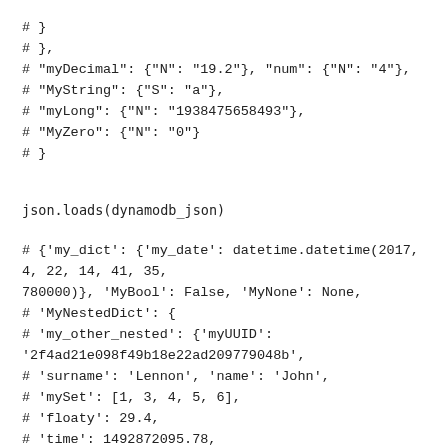# }
# },
# "myDecimal": {"N": "19.2"}, "num": {"N": "4"},
# "MyString": {"S": "a"},
# "myLong": {"N": "1938475658493"},
# "MyZero": {"N": "0"}
# }
json.loads(dynamodb_json)
# {'my_dict': {'my_date': datetime.datetime(2017, 4, 22, 14, 41, 35,
780000)}, 'MyBool': False, 'MyNone': None,
# 'MyNestedDict': {
# 'my_other_nested': {'myUUID':
'2f4ad21e098f49b18e22ad209779048b',
# 'surname': 'Lennon', 'name': 'John',
# 'mySet': [1, 3, 4, 5, 6],
# 'floaty': 29.4,
# 'time': 1492872095.78,